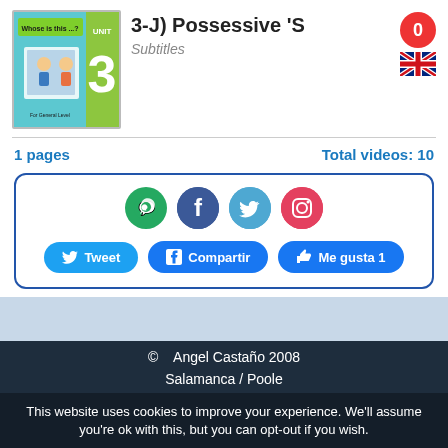[Figure (illustration): Textbook cover showing 'Whose is this...?' with Unit 3 label and green/teal colors, with a photo of people]
3-J) Possessive 'S
Subtitles
[Figure (other): Red circle badge with white number 0]
[Figure (other): UK flag icon]
1 pages
Total videos: 10
[Figure (infographic): Social sharing box with WhatsApp, Facebook, Twitter, Instagram icons and Tweet, Compartir, Me gusta 1 buttons]
© Angel Castaño 2008
Salamanca / Poole
This website uses cookies to improve your experience. We'll assume you're ok with this, but you can opt-out if you wish.
Accept   Read more